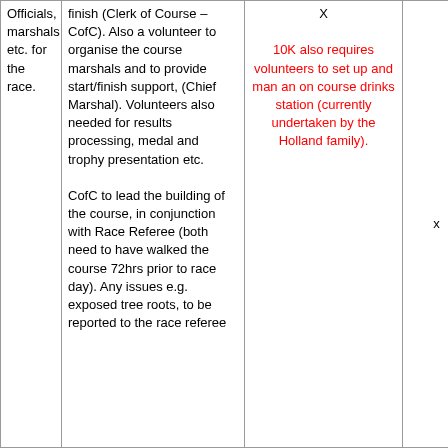| Officials, marshals etc. for the race. | finish (Clerk of Course – CofC). Also a volunteer to organise the course marshals and to provide start/finish support, (Chief Marshal). Volunteers also needed for results processing, medal and trophy presentation etc.

CofC to lead the building of the course, in conjunction with Race Referee (both need to have walked the course 72hrs prior to race day). Any issues e.g. exposed tree roots, to be reported to the race referee | X

10K also requires volunteers to set up and man an on course drinks station (currently undertaken by the Holland family). | x | x |